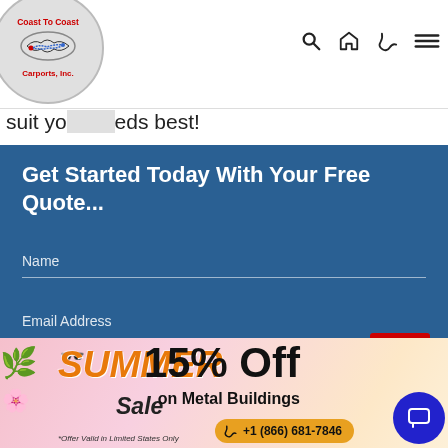[Figure (logo): Coast To Coast Carports, Inc. logo — circular badge with red text and US map outline]
suit your needs best!
Get Started Today With Your Free Quote...
Name
Email Address
[Figure (infographic): Summer Sale banner — SUMMER SALE text in orange/black italic, 15% Off on Metal Buildings, phone number +1 (866) 681-7846, *Offer Valid in Limited States Only, blue chat button]